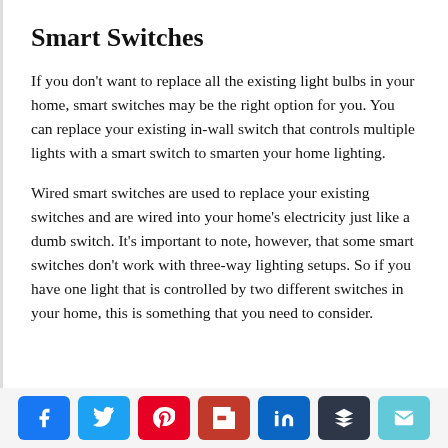Smart Switches
If you don't want to replace all the existing light bulbs in your home, smart switches may be the right option for you. You can replace your existing in-wall switch that controls multiple lights with a smart switch to smarten your home lighting.
Wired smart switches are used to replace your existing switches and are wired into your home's electricity just like a dumb switch. It's important to note, however, that some smart switches don't work with three-way lighting setups. So if you have one light that is controlled by two different switches in your home, this is something that you need to consider.
[Figure (other): Social share buttons row: Facebook, Twitter, Pinterest, Flipboard, LinkedIn, Buffer, Email]